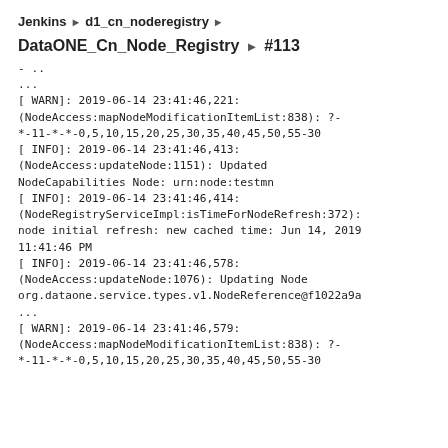Jenkins › d1_cn_noderegistry ›
DataONE_Cn_Node_Registry › #113
- ..
...
[ WARN]: 2019-06-14 23:41:46,221:
(NodeAccess:mapNodeModificationItemList:838): ?-
*-11-*-*-0,5,10,15,20,25,30,35,40,45,50,55-30
[ INFO]: 2019-06-14 23:41:46,413:
(NodeAccess:updateNode:1151): Updated
NodeCapabilities Node: urn:node:testmn
[ INFO]: 2019-06-14 23:41:46,414:
(NodeRegistryServiceImpl:isTimeForNodeRefresh:372):
node initial refresh: new cached time: Jun 14, 2019
11:41:46 PM
[ INFO]: 2019-06-14 23:41:46,578:
(NodeAccess:updateNode:1076): Updating Node
org.dataone.service.types.v1.NodeReference@f1022a9a
...
[ WARN]: 2019-06-14 23:41:46,579:
(NodeAccess:mapNodeModificationItemList:838): ?-
*-11-*-*-0,5,10,15,20,25,30,35,40,45,50,55-30